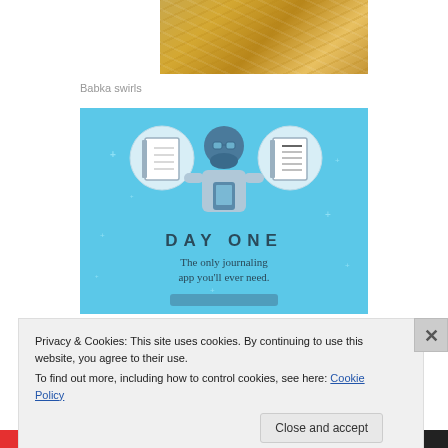[Figure (photo): Close-up photo of babka swirls with golden-brown dough texture]
Babka swirls
[Figure (illustration): Day One journaling app advertisement. Blue background with illustrated figure holding phone, flanked by two notebook icons in circles. Text reads 'DAY ONE - The only journaling app you'll ever need.']
Privacy & Cookies: This site uses cookies. By continuing to use this website, you agree to their use.
To find out more, including how to control cookies, see here: Cookie Policy
Close and accept